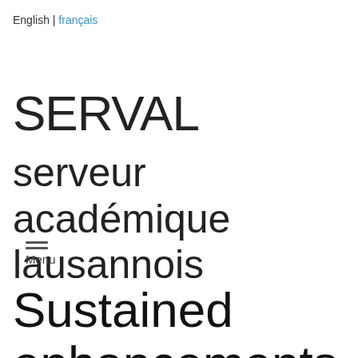English | français
SERVAL
serveur académique lausannois
Menu
Sustained enhancements in inhibitory control